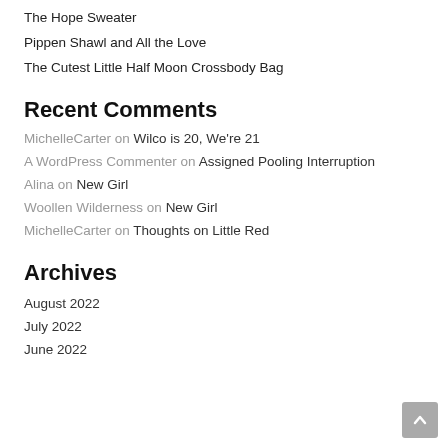The Hope Sweater
Pippen Shawl and All the Love
The Cutest Little Half Moon Crossbody Bag
Recent Comments
MichelleCarter on Wilco is 20, We're 21
A WordPress Commenter on Assigned Pooling Interruption
Alina on New Girl
Woollen Wilderness on New Girl
MichelleCarter on Thoughts on Little Red
Archives
August 2022
July 2022
June 2022